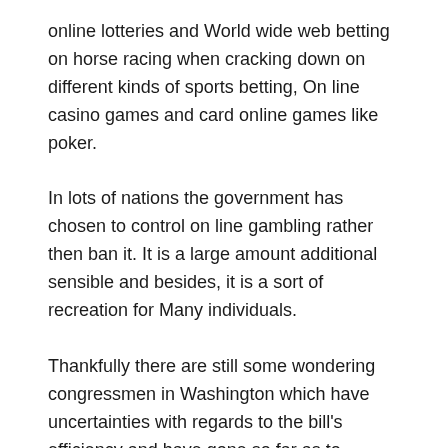online lotteries and World wide web betting on horse racing when cracking down on different kinds of sports betting, On line casino games and card online games like poker.
In lots of nations the government has chosen to control on line gambling rather then ban it. It is a large amount additional sensible and besides, it is a sort of recreation for Many individuals.
Thankfully there are still some wondering congressmen in Washington which have uncertainties with regards to the bill's efficiency and have gone so far as to connect with it a come to feel-very good piece of legislation. A Monthly bill more details on news-earning than